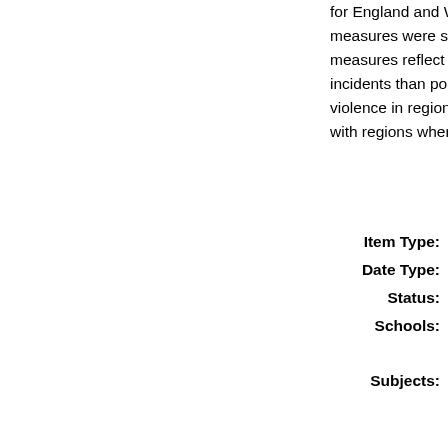for England and Wales (CSEW), police and ED measures were similar, though CSEW and ED measures reflect far greater numbers of violent incidents than police data. Causes of decreases in violence in regions need to be identified and shared with regions where violence increased.
| Field | Value |
| --- | --- |
| Item Type: | Article |
| Date Type: | Publication |
| Status: | Published |
| Schools: | Dentistry Business (In |
| Subjects: | H Social Sci pathology. S R Medicine medicine > h Hygiene. Pr |
| Uncontrolled Keywords: | Injury; Trend emergency; |
| Publisher: | Elsevier |